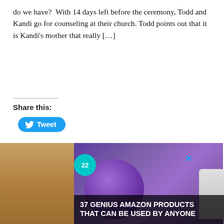do we have?  With 14 days left before the ceremony, Todd and Kandi go for counseling at their church. Todd points out that it is Kandi's mother that really […]
Share this:
Tweet
FILED UNDER: RHOA
TAGGED WITH: ATLANTA, AUNT BERTHA, AUNT NORA, BAR ONE, BRAVO, CARMON, DESTINATION WEDDING, DON JUAN, FILMING REAL HOUSEWIVES OF ATLANTA, KANDI AND TODD, KANDI AND TODD MARRIED, KANDI BURRUSS, KANDI'S MOTHER, KANDI'S WEDDING, KANDI'S WEDDING SPINOFF, MAMA JOYCE, MISS SHARON, NEWS ARCHIVE, PEOPLE IN THE STREETS, REAL HOUSEWIVES OF ATLANTA, RECAP, RHOA, RILEY, SAY THE DISTR…
[Figure (other): Advertisement banner showing purple headphones on a wooden table with text '37 GENIUS AMAZON PRODUCTS THAT CAN BE USED BY ANYONE' and a '22' badge. Includes a CLOSE button and X icon.]